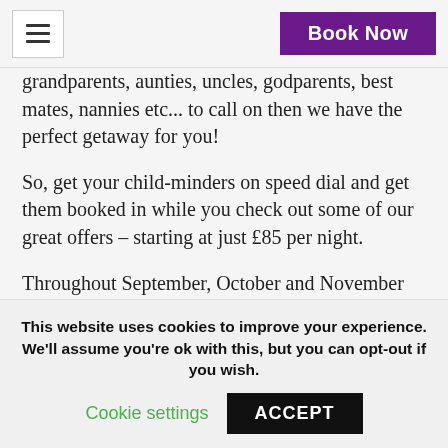Book Now
grandparents, aunties, uncles, godparents, best mates, nannies etc... to call on then we have the perfect getaway for you!
So, get your child-minders on speed dial and get them booked in while you check out some of our great offers – starting at just £85 per night.
Throughout September, October and November we will be having some exclusive deals for couples who require rest and relaxation after a challenging few months.
This website uses cookies to improve your experience. We'll assume you're ok with this, but you can opt-out if you wish.
Cookie settings  ACCEPT